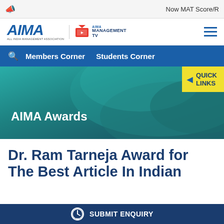Now MAT Score/R
[Figure (logo): AIMA - All India Management Association logo and AIMA Management TV logo with hamburger menu]
Members Corner  Students Corner
[Figure (illustration): Teal banner with wave design featuring QUICK LINKS button and AIMA Awards text]
Dr. Ram Tarneja Award for The Best Article In Indian Management
SUBMIT ENQUIRY